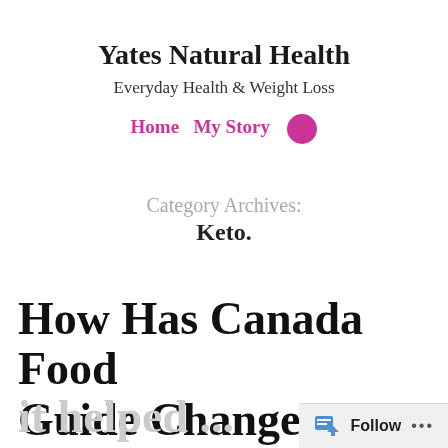Yates Natural Health
Everyday Health & Weight Loss
Home   My Story   ...
Category Archives:
Keto.
How Has Canada Food Guide Changed and Has it helped...